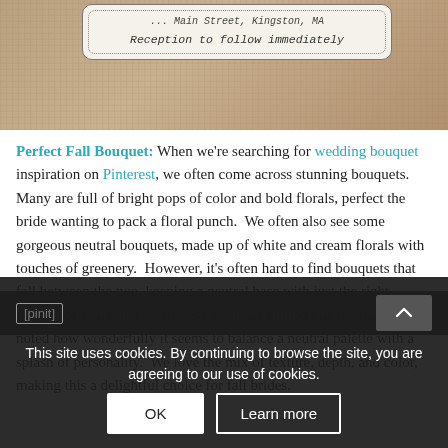[Figure (photo): A wedding invitation card on burlap fabric. The card reads '...Main Street, Kingston, MA' and 'Reception to follow immediately' in handwritten style font, with a dotted border.]
Perfect Fall Bouquet: When we're searching for wedding bouquet inspiration on Pinterest, we often come across stunning bouquets.  Many are full of bright pops of color and bold florals, perfect the bride wanting to pack a floral punch.  We often also see some gorgeous neutral bouquets, made up of white and cream florals with touches of greenery.  However, it's often hard to find bouquets that fall between the two, keeping a neutral base with just the right amount of spark and spunk.  So when we pinned this bouquet, we noted how wonderfully it seems to balance a neutral palette with a splash of personality.  We love the mix of texture, depth, and color, making this a delightful choice for fall brides.
This site uses cookies. By continuing to browse the site, you are agreeing to our use of cookies.